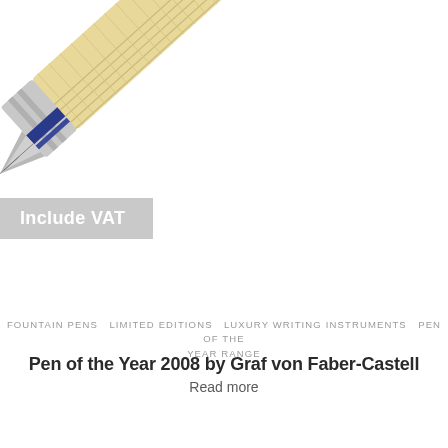[Figure (photo): Close-up photo of a luxury fountain pen (Graf von Faber-Castell Pen of the Year 2008) with woven straw/ivory body and silver/blue metallic trim, positioned diagonally on white background]
Include VAT
FOUNTAIN PENS  LIMITED EDITIONS  LUXURY WRITING INSTRUMENTS  PEN OF THE YEAR RANGE
Pen of the Year 2008 by Graf von Faber-Castell
Read more